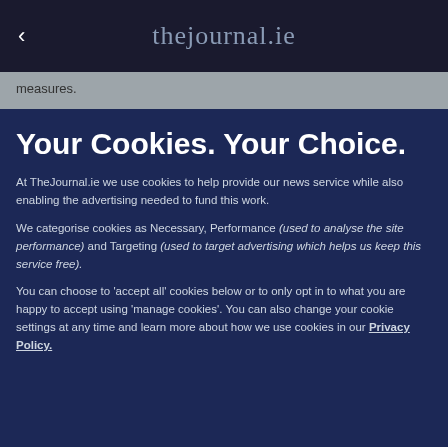thejournal.ie
measures.
Your Cookies. Your Choice.
At TheJournal.ie we use cookies to help provide our news service while also enabling the advertising needed to fund this work.
We categorise cookies as Necessary, Performance (used to analyse the site performance) and Targeting (used to target advertising which helps us keep this service free).
You can choose to 'accept all' cookies below or to only opt in to what you are happy to accept using 'manage cookies'. You can also change your cookie settings at any time and learn more about how we use cookies in our Privacy Policy.